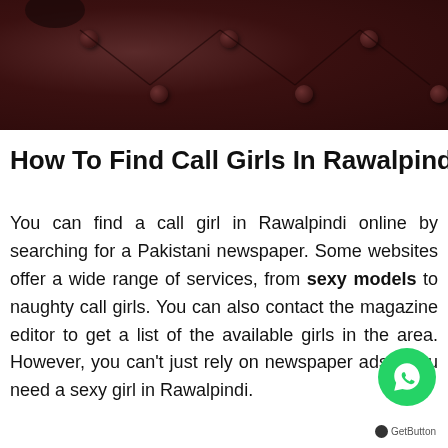[Figure (photo): Dark brown tufted leather surface photographed from above, showing buttons and seam lines]
How To Find Call Girls In Rawalpindi
You can find a call girl in Rawalpindi online by searching for a Pakistani newspaper. Some websites offer a wide range of services, from sexy models to naughty call girls. You can also contact the magazine editor to get a list of the available girls in the area. However, you can't just rely on newspaper ads if you need a sexy girl in Rawalpindi.